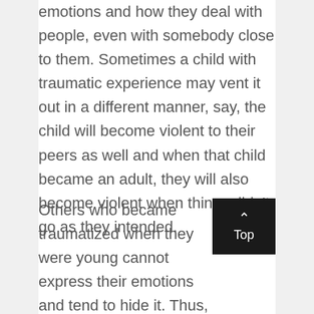emotions and how they deal with people, even with somebody close to them. Sometimes a child with traumatic experience may vent it out in a different manner, say, the child will become violent to their peers as well and when that child became an adult, they will also become violent when things didn't go as they intended.
Others who became traumatized when they were young cannot express their emotions and tend to hide it. Thus, it compromises relationships. Some will have anger issues that when faced with events